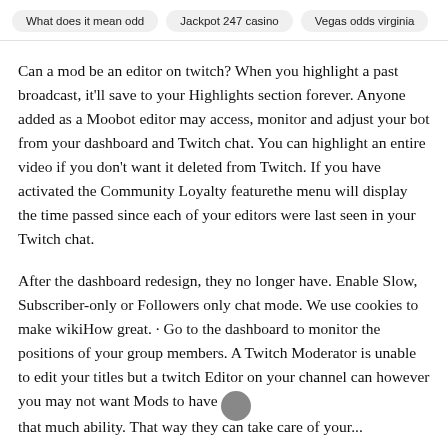What does it mean odd   Jackpot 247 casino   Vegas odds virginia
Can a mod be an editor on twitch? When you highlight a past broadcast, it'll save to your Highlights section forever. Anyone added as a Moobot editor may access, monitor and adjust your bot from your dashboard and Twitch chat. You can highlight an entire video if you don't want it deleted from Twitch. If you have activated the Community Loyalty featurethe menu will display the time passed since each of your editors were last seen in your Twitch chat.
After the dashboard redesign, they no longer have. Enable Slow, Subscriber-only or Followers only chat mode. We use cookies to make wikiHow great. · Go to the dashboard to monitor the positions of your group members. A Twitch Moderator is unable to edit your titles but a twitch Editor on your channel can however you may not want Mods to have that much ability. That way they can take care of your...